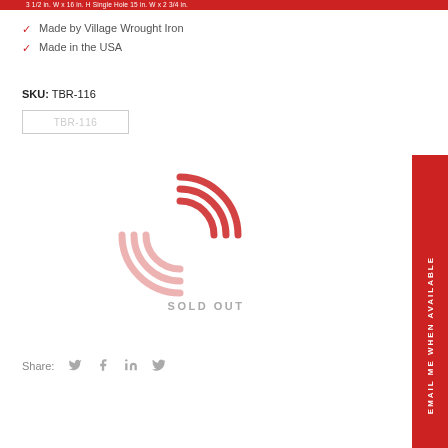3 1/2 in. W x 16 in. H Single Hole 15 in. W x 2 3/4 in.
Made by Village Wrought Iron
Made in the USA
SKU: TBR-116
TBR-116
[Figure (other): Loading spinner / brand logo in red curved lines, with SOLD OUT text below]
Share:
EMAIL ME WHEN AVAILABLE